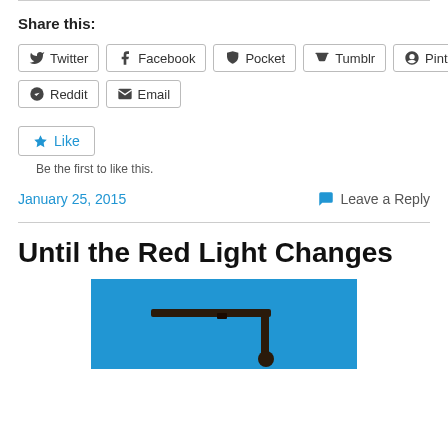Share this:
Twitter
Facebook
Pocket
Tumblr
Pinterest
Reddit
Email
Like
Be the first to like this.
January 25, 2015
Leave a Reply
Until the Red Light Changes
[Figure (photo): Photo of a traffic light arm against a blue sky background]